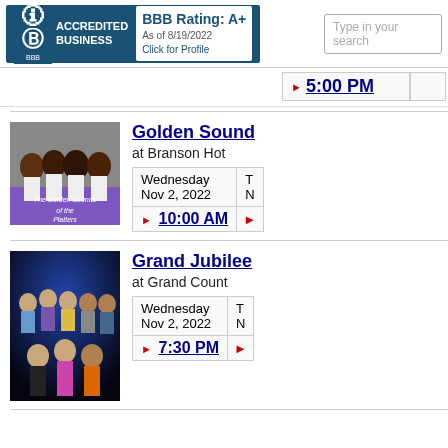BBB Rating: A+ As of 8/19/2022 Click for Profile | ACCREDITED BUSINESS | BBB
5:00 PM
[Figure (photo): Group photo of The Golden Sounds of the Platters performers in white outfits with purple banner]
Golden Sound
at Branson Hot
| Date | T N |
| --- | --- |
| Wednesday
Nov 2, 2022 | T
N |
| 10:00 AM |  |
[Figure (photo): Group photo of Grand Jubilee performers on stage with colorful lighting]
Grand Jubilee
at Grand Count
| Date | T N |
| --- | --- |
| Wednesday
Nov 2, 2022 | T
N |
| 7:30 PM |  |